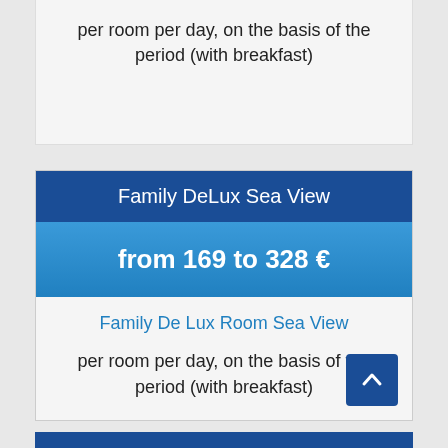per room per day, on the basis of the period (with breakfast)
Family DeLux Sea View
from 169 to 328 €
Family De Lux Room Sea View
per room per day, on the basis of the period (with breakfast)